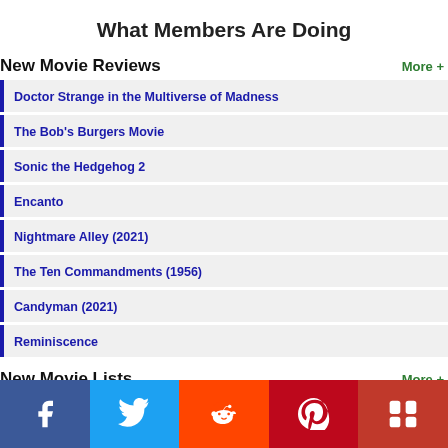What Members Are Doing
New Movie Reviews
Doctor Strange in the Multiverse of Madness
The Bob's Burgers Movie
Sonic the Hedgehog 2
Encanto
Nightmare Alley (2021)
The Ten Commandments (1956)
Candyman (2021)
Reminiscence
New Movie Lists
Movies of 2022 by Stoney McStonerson
[Figure (infographic): Social share bar with Facebook, Twitter, Reddit, Pinterest, and Myspace/Mix icons]